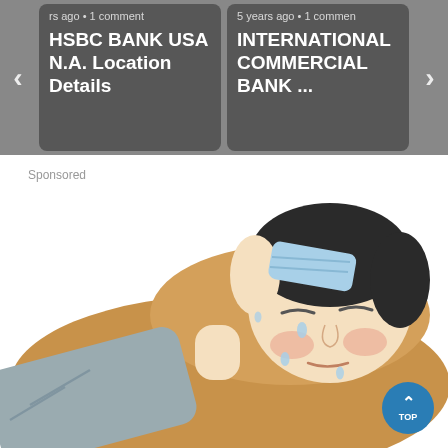[Figure (screenshot): Carousel navigation showing two bank-related article cards. Left card: 'HSBC BANK USA N.A. Location Details' with metadata 'rs ago • 1 comment'. Right card: 'INTERNATIONAL COMMERCIAL BANK ...' with metadata '5 years ago • 1 comment'. Left and right arrow navigation buttons visible.]
Sponsored
[Figure (illustration): Cartoon illustration of a sick person lying on a brown pillow/mat with eyes closed, flushed cheeks, sweat drops on face, and a blue cold compress on forehead. The person is wearing a gray outfit.]
[Figure (other): Blue circular TOP button with upward chevron arrow in bottom-right corner]